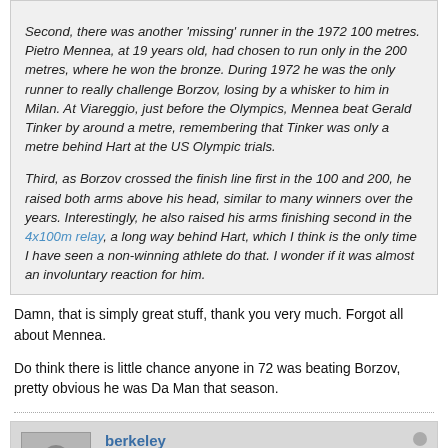Second, there was another 'missing' runner in the 1972 100 metres. Pietro Mennea, at 19 years old, had chosen to run only in the 200 metres, where he won the bronze. During 1972 he was the only runner to really challenge Borzov, losing by a whisker to him in Milan. At Viareggio, just before the Olympics, Mennea beat Gerald Tinker by around a metre, remembering that Tinker was only a metre behind Hart at the US Olympic trials.
Third, as Borzov crossed the finish line first in the 100 and 200, he raised both arms above his head, similar to many winners over the years. Interestingly, he also raised his arms finishing second in the 4x100m relay, a long way behind Hart, which I think is the only time I have seen a non-winning athlete do that. I wonder if it was almost an involuntary reaction for him.
Damn, that is simply great stuff, thank you very much. Forgot all about Mennea.
Do think there is little chance anyone in 72 was beating Borzov, pretty obvious he was Da Man that season.
berkeley
Senior Member